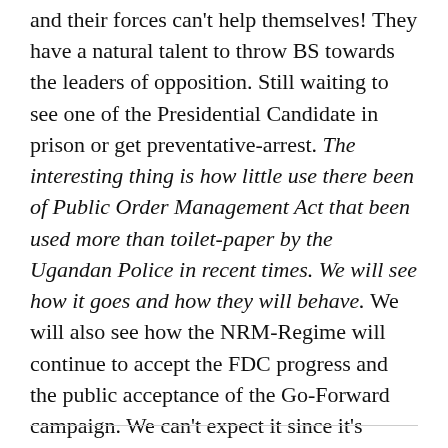and their forces can't help themselves! They have a natural talent to throw BS towards the leaders of opposition. Still waiting to see one of the Presidential Candidate in prison or get preventative-arrest. The interesting thing is how little use there been of Public Order Management Act that been used more than toilet-paper by the Ugandan Police in recent times. We will see how it goes and how they will behave. We will also see how the NRM-Regime will continue to accept the FDC progress and the public acceptance of the Go-Forward campaign. We can't expect it since it's against the normalcy of the arrogance of Mzee and his loyal paid-off cronies. Peace!